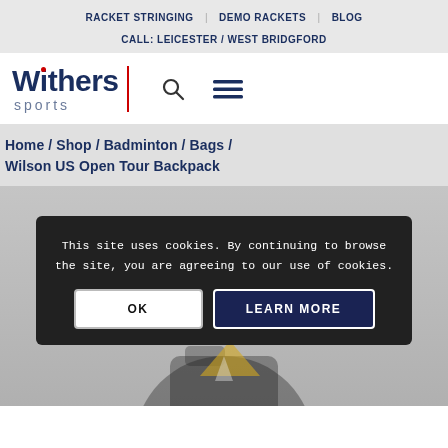RACKET STRINGING | DEMO RACKETS | BLOG
CALL: LEICESTER / WEST BRIDGFORD
[Figure (logo): Withers Sports logo with red dot on 'i', red vertical bar separator, search icon and hamburger menu icon]
Home / Shop / Badminton / Bags / Wilson US Open Tour Backpack
This site uses cookies. By continuing to browse the site, you are agreeing to our use of cookies.
OK
LEARN MORE
[Figure (photo): Partial view of Wilson US Open Tour Backpack product image on grey background]